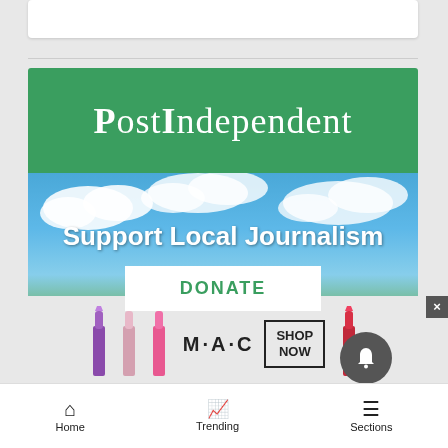[Figure (screenshot): White card at top of page, part of a webpage UI]
[Figure (logo): Post Independent newspaper logo on green background with 'Support Local Journalism' text and DONATE button on a sky/landscape photo background]
YOUR AD HERE »
[Figure (photo): MAC cosmetics advertisement banner showing lipsticks in purple, pink, and red with MAC logo and SHOP NOW button]
Home  Trending  Sections